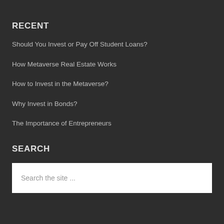RECENT
Should You Invest or Pay Off Student Loans?
How Metaverse Real Estate Works
How to Invest in the Metaverse?
Why Invest in Bonds?
The Importance of Entrepreneurs
SEARCH
Search the site ...